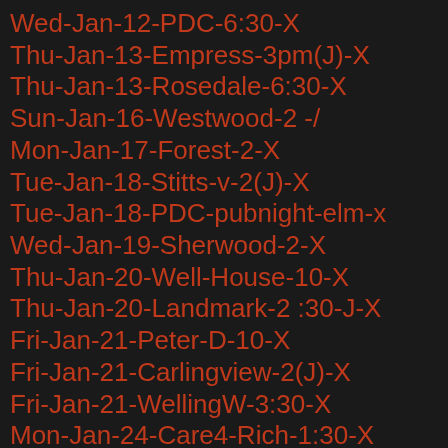Wed-Jan-12-PDC-6:30-X
Thu-Jan-13-Empress-3pm(J)-X
Thu-Jan-13-Rosedale-6:30-X
Sun-Jan-16-Westwood-2 -/
Mon-Jan-17-Forest-2-X
Tue-Jan-18-Stitts-v-2(J)-X
Tue-Jan-18-PDC-pubnight-elm-x
Wed-Jan-19-Sherwood-2-X
Thu-Jan-20-Well-House-10-X
Thu-Jan-20-Landmark-2 :30-J-X
Fri-Jan-21-Peter-D-10-X
Fri-Jan-21-Carlingview-2(J)-X
Fri-Jan-21-WellingW-3:30-X
Mon-Jan-24-Care4-Rich-1:30-X
Tue-Jan-25-Globe-10-X